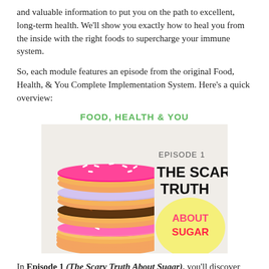and valuable information to put you on the path to excellent, long-term health. We'll show you exactly how to heal you from the inside with the right foods to supercharge your immune system.
So, each module features an episode from the original Food, Health, & You Complete Implementation System. Here's a quick overview:
[Figure (illustration): Episode 1 cover image featuring a stack of colorful donuts on the left side, with text on the right reading 'EPISODE 1 THE SCARY TRUTH ABOUT Sugar' above a yellow circle, with 'Food, Health & You' heading in green at top]
In Episode 1 (The Scary Truth About Sugar), you'll discover the real reason why the so-called "expert" advice of eating less and exercising more is counterproductive from a nutritional